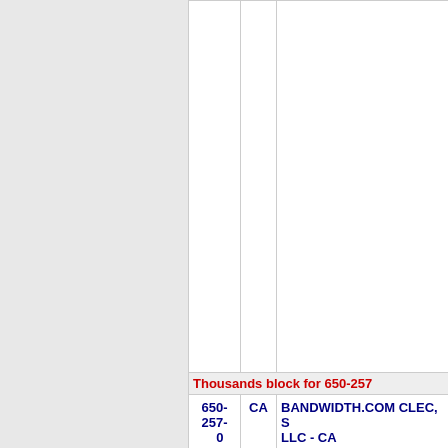| Number | State | Name |
| --- | --- | --- |
|  |  |  |
| Thousands block for 650-257 |  |  |
| 650-257-0 | CA | BANDWIDTH.COM CLEC, S LLC - CA |
| 650-257-1 | CA | GLOBAL CROSSING LOCAL SERVICES (CenturyLink, Inc) |